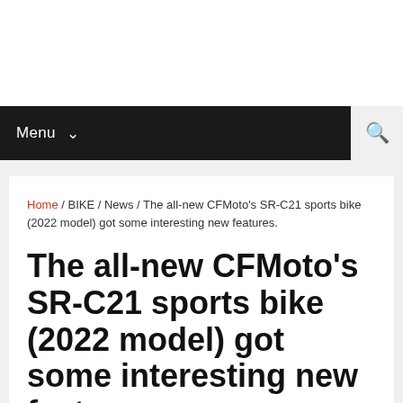Menu
Home / BIKE / News / The all-new CFMoto's SR-C21 sports bike (2022 model) got some interesting new features.
The all-new CFMoto's SR-C21 sports bike (2022 model) got some interesting new features.
January 05, 2022  BIKE, News